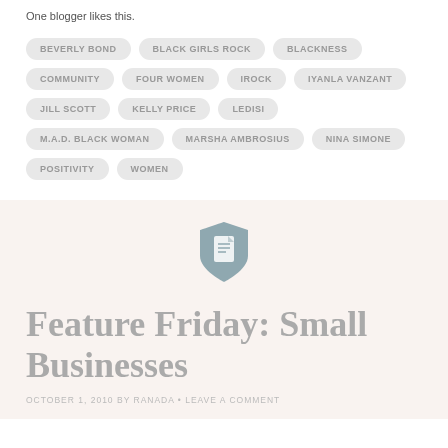One blogger likes this.
BEVERLY BOND
BLACK GIRLS ROCK
BLACKNESS
COMMUNITY
FOUR WOMEN
IROCK
IYANLA VANZANT
JILL SCOTT
KELLY PRICE
LEDISI
M.A.D. BLACK WOMAN
MARSHA AMBROSIUS
NINA SIMONE
POSITIVITY
WOMEN
[Figure (illustration): Document/file icon in muted teal-grey color]
Feature Friday: Small Businesses
OCTOBER 1, 2010 BY RANADA • LEAVE A COMMENT